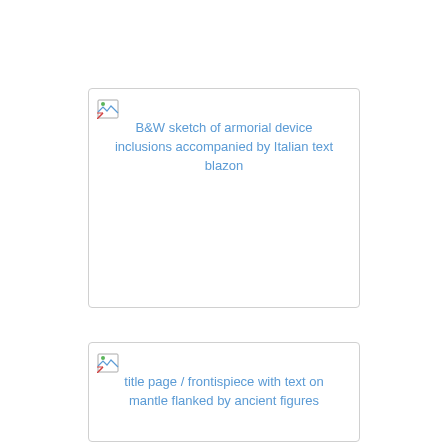[Figure (illustration): B&W sketch of armorial device inclusions accompanied by Italian text blazon — broken image placeholder with alt text]
[Figure (illustration): title page / frontispiece with text on mantle flanked by ancient figures — broken image placeholder with alt text]